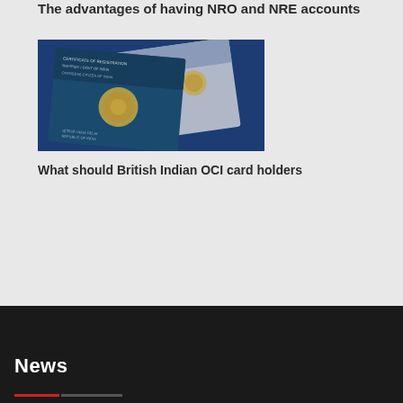The advantages of having NRO and NRE accounts
[Figure (photo): Two Indian identity documents — an Overseas Citizens of India (OCI) card and a Person of Indian Origin (PIO) card — photographed on a blue fabric background. The documents show Indian government emblems and text about certificate of registration for overseas citizens of India.]
What should British Indian OCI card holders
News